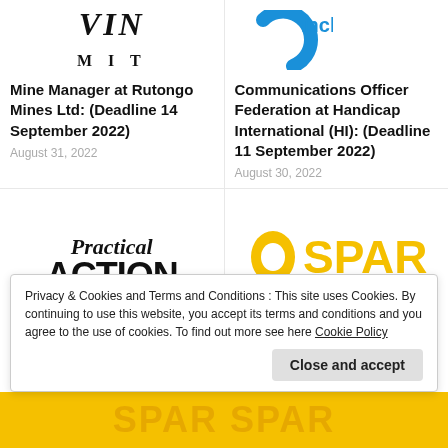[Figure (logo): Rutongo Mines Ltd logo - black serif text]
[Figure (logo): Handicap International / Inclusion logo - blue arc shape]
Mine Manager at Rutongo Mines Ltd: (Deadline 14 September 2022)
August 31, 2022
Communications Officer Federation at Handicap International (HI): (Deadline 11 September 2022)
August 30, 2022
[Figure (logo): Practical Action logo - bold serif/sans text]
[Figure (logo): SPAR Microgrant logo - yellow text with icon]
Privacy & Cookies and Terms and Conditions : This site uses Cookies. By continuing to use this website, you accept its terms and conditions and you agree to the use of cookies. To find out more see here Cookie Policy
Close and accept